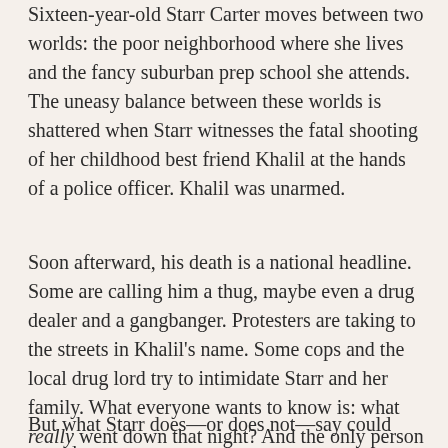Sixteen-year-old Starr Carter moves between two worlds: the poor neighborhood where she lives and the fancy suburban prep school she attends. The uneasy balance between these worlds is shattered when Starr witnesses the fatal shooting of her childhood best friend Khalil at the hands of a police officer. Khalil was unarmed.
Soon afterward, his death is a national headline. Some are calling him a thug, maybe even a drug dealer and a gangbanger. Protesters are taking to the streets in Khalil's name. Some cops and the local drug lord try to intimidate Starr and her family. What everyone wants to know is: what really went down that night? And the only person alive who can answer that is Starr.
But what Starr does—or does not—say could upend